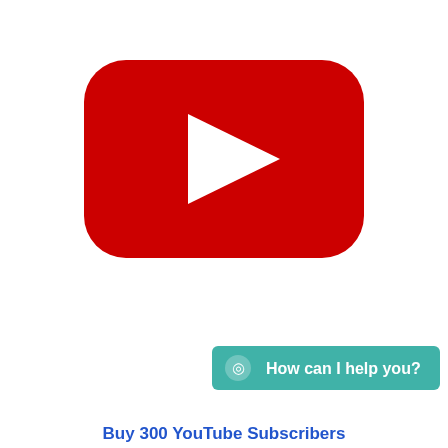[Figure (logo): YouTube logo: red rounded rectangle with white play triangle in center]
[Figure (infographic): Teal/green rounded button with WhatsApp icon and text 'How can I help you?']
Buy 300 YouTube Subscribers